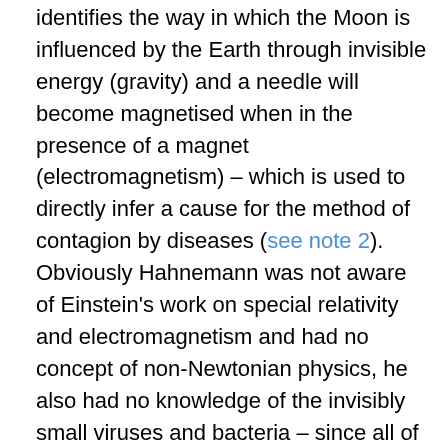identifies the way in which the Moon is influenced by the Earth through invisible energy (gravity) and a needle will become magnetised when in the presence of a magnet (electromagnetism) – which is used to directly infer a cause for the method of contagion by diseases (see note 2). Obviously Hahnemann was not aware of Einstein's work on special relativity and electromagnetism and had no concept of non-Newtonian physics, he also had no knowledge of the invisibly small viruses and bacteria – since all of these breakthroughs were yet to come. In effect, Hahnemann was accepting that invisible forces are undetectable and moreover that they should simply be accepted on faith:
How the vital force causes the organism to display morbid phenomena, that is, how it produces disease, it would be